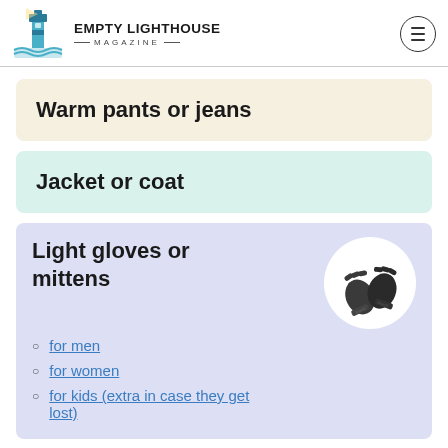EMPTY LIGHTHOUSE MAGAZINE
Warm pants or jeans
Jacket or coat
Light gloves or mittens
for men
for women
for kids (extra in case they get lost)